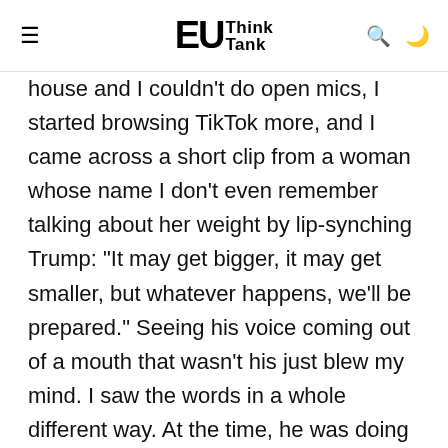EU Think Tank
house and I couldn't do open mics, I started browsing TikTok more, and I came across a short clip from a woman whose name I don't even remember talking about her weight by lip-synching Trump: “It may get bigger, it may get smaller, but whatever happens, we'll be prepared.” Seeing his voice coming out of a mouth that wasn’t his just blew my mind. I saw the words in a whole different way. At the time, he was doing the daily coronavirus press briefings, so I was listening to him stand in front of doctors and scientists and say things that to me made no sense. It felt like he was gaslighting us into thinking that he knew what he was doing. So I took a clip where he was asked, “What’s your plan?” and he said something like “Well, we’re going to form a committee, and it’s going to be a good committee, and